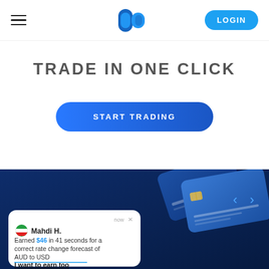[Figure (screenshot): Navigation bar with hamburger menu icon on left, blue logo in center, and LOGIN button on right]
TRADE IN ONE CLICK
[Figure (other): Blue rounded rectangle button with text START TRADING]
[Figure (illustration): Dark blue background section showing 3D blue credit cards and a notification popup. Navigation arrows on right. Notification card shows: Mahdi H. Earned $46 in 41 seconds for a correct rate change forecast of AUD to USD. I want to earn too.]